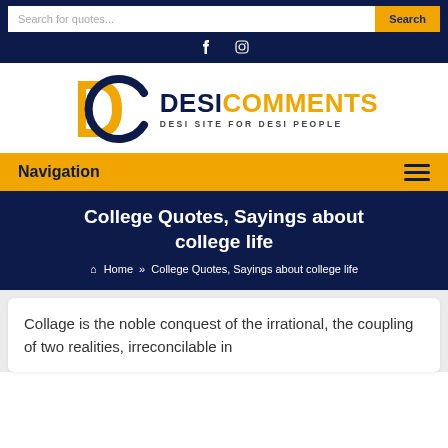Search for quotes... [Search button] | Facebook | Instagram
[Figure (logo): DesiComments logo with DC monogram in gold and navy, text DESICOMMENTS DESI SITE FOR DESI PEOPLE]
Navigation
College Quotes, Sayings about college life
Home » College Quotes, Sayings about college life
Collage is the noble conquest of the irrational, the coupling of two realities, irreconcilable in